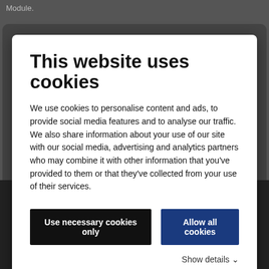Module.
This website uses cookies
We use cookies to personalise content and ads, to provide social media features and to analyse our traffic. We also share information about your use of our site with our social media, advertising and analytics partners who may combine it with other information that you've provided to them or that they've collected from your use of their services.
Use necessary cookies only
Allow all cookies
Show details